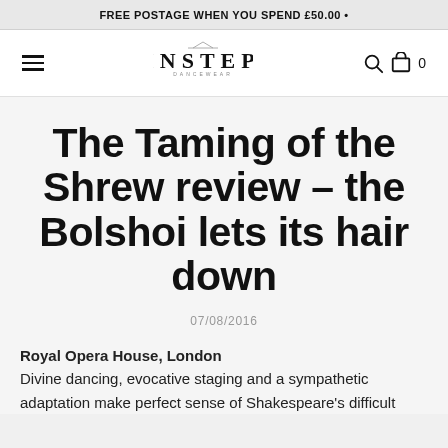FREE POSTAGE WHEN YOU SPEND £50.00 •
[Figure (logo): Instep Dancewear logo with hamburger menu, search icon, and cart icon with 0 items]
The Taming of the Shrew review – the Bolshoi lets its hair down
07/08/2016
Royal Opera House, London
Divine dancing, evocative staging and a sympathetic adaptation make perfect sense of Shakespeare's difficult